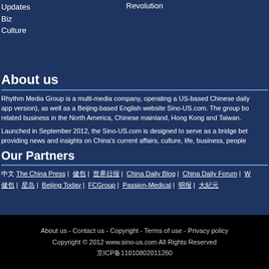Updates
Revolution
Biz
Culture
About us
Rhythm Media Group is a multi-media company, operating a US-based Chinese daily app version), as well as a Beijing-based English website Sino-US.com. The group bo related business in the North America, Chinese mainland, Hong Kong and Taiwan.
Launched in September 2012, the Sino-US.com is designed to serve as a bridge bet providing news and insights on China's current affairs, culture, life, business, people
Our Partners
中文 The China Press | 侨报 | 世界日报 | China Daily Blog | China Daily Forum | W 侨报 | 星岛 | Beijing Today | FCGroup | Passion-Medical | 明报 | 大纪元
About us - Contact us - Copyright - Terms of use - Privacy policy
Copyright © 2012 www.sino-us.com All Rights Reserved
京ICP备11010802011260